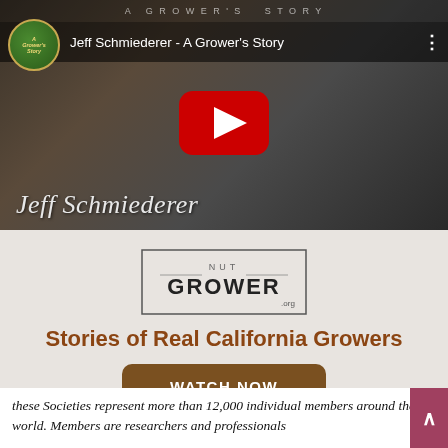[Figure (screenshot): YouTube video thumbnail showing Jeff Schmiederer with video title bar at top reading 'Jeff Schmiederer - A Grower's Story', a red YouTube play button in the center, and the text 'Jeff Schmiederer' in italic white/gray at the bottom left]
[Figure (logo): NUT GROWER .org logo with rectangular border and text]
Stories of Real California Growers
WATCH NOW
these Societies represent more than 12,000 individual members around the world. Members are researchers and professionals